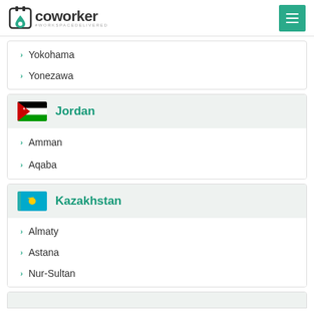coworker #WORKSPACEDELIVERED
Yokohama
Yonezawa
Jordan
Amman
Aqaba
Kazakhstan
Almaty
Astana
Nur-Sultan